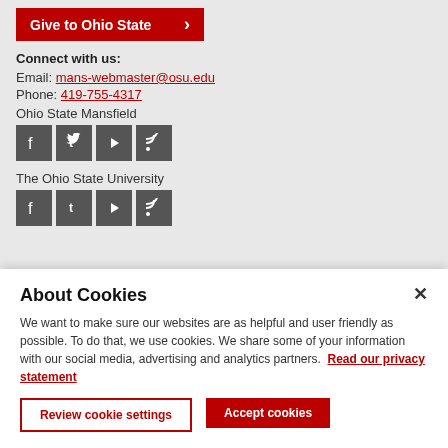[Figure (other): Red 'Give to Ohio State' button with arrow]
Connect with us:
Email: mans-webmaster@osu.edu
Phone: 419-755-4317
Ohio State Mansfield
[Figure (other): Social media icons: Facebook, Twitter, YouTube, RSS for Ohio State Mansfield]
The Ohio State University
[Figure (other): Social media icons: Facebook, Twitter, YouTube, RSS for The Ohio State University]
About Cookies
We want to make sure our websites are as helpful and user friendly as possible. To do that, we use cookies. We share some of your information with our social media, advertising and analytics partners. Read our privacy statement
Review cookie settings
Accept cookies